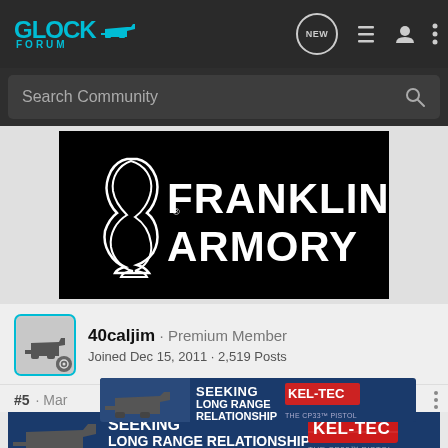GLOCK FORUM — navigation bar with NEW, list, user, and menu icons
Search Community
[Figure (logo): Franklin Armory logo: white silhouette of Benjamin Franklin profile on black background with FRANKLIN ARMORY text in white]
40caljim · Premium Member
Joined Dec 15, 2011 · 2,519 Posts
#5 · Mar
[Figure (illustration): Kel-Tec CP33 Pistol advertisement: SEEKING LONG RANGE RELATIONSHIP THE CP33 PISTOL on dark blue background with gun image]
I also h